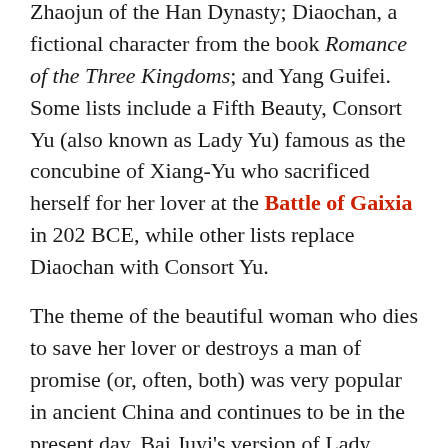Zhaojun of the Han Dynasty; Diaochan, a fictional character from the book Romance of the Three Kingdoms; and Yang Guifei. Some lists include a Fifth Beauty, Consort Yu (also known as Lady Yu) famous as the concubine of Xiang-Yu who sacrificed herself for her lover at the Battle of Gaixia in 202 BCE, while other lists replace Diaochan with Consort Yu.
The theme of the beautiful woman who dies to save her lover or destroys a man of promise (or, often, both) was very popular in ancient China and continues to be in the present day. Bai Juyi's version of Lady Yang's death and Xuanzong's grief has probably inspired many people to write similar stories but the best-known work to draw upon it is Lady Murasaki's The Tale of Genji, a classical work